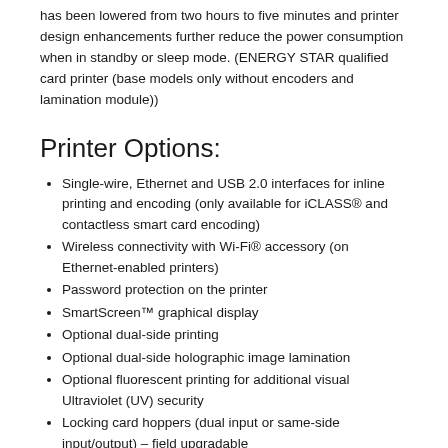has been lowered from two hours to five minutes and printer design enhancements further reduce the power consumption when in standby or sleep mode. (ENERGY STAR qualified card printer (base models only without encoders and lamination module))
Printer Options:
Single-wire, Ethernet and USB 2.0 interfaces for inline printing and encoding (only available for iCLASS® and contactless smart card encoding)
Wireless connectivity with Wi-Fi® accessory (on Ethernet-enabled printers)
Password protection on the printer
SmartScreen™ graphical display
Optional dual-side printing
Optional dual-side holographic image lamination
Optional fluorescent printing for additional visual Ultraviolet (UV) security
Locking card hoppers (dual input or same-side input/output) – field upgradable
Single-sided or dual - sided (simultaneous) card lamination –- field upgradable
Smart card encoding (contact/contactless) – field upgradable
Magnetic stripe encoding-field upgradable
Ethernet with internal print server